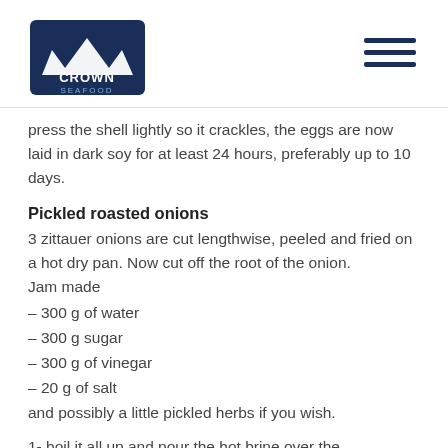Crown Seafood logo and navigation
press the shell lightly so it crackles, the eggs are now laid in dark soy for at least 24 hours, preferably up to 10 days.
Pickled roasted onions
3 zittauer onions are cut lengthwise, peeled and fried on a hot dry pan. Now cut off the root of the onion.
Jam made
– 300 g of water
– 300 g sugar
– 300 g of vinegar
– 20 g of salt
and possibly a little pickled herbs if you wish.
1- boil it all up and pour the hot brine over the